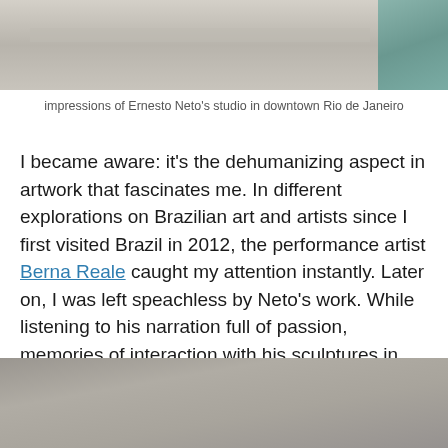[Figure (photo): Top portion of a photo showing Ernesto Neto's studio floor in downtown Rio de Janeiro, with tiled floor and teal fabric visible at right edge]
impressions of Ernesto Neto's studio in downtown Rio de Janeiro
I became aware: it's the dehumanizing aspect in artwork that fascinates me. In different explorations on Brazilian art and artists since I first visited Brazil in 2012, the performance artist Berna Reale caught my attention instantly. Later on, I was left speachless by Neto's work. While listening to his narration full of passion, memories of interaction with his sculptures in 2019 at Museum Pinacoteca, São Paulo, appeared as fresh on my mind.
[Figure (photo): Bottom portion of a photo showing a tan/grey interior space, likely part of Ernesto Neto's studio]